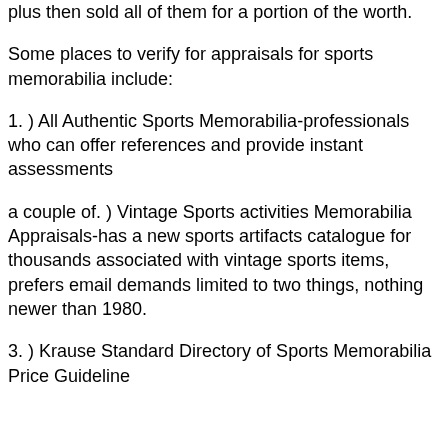plus then sold all of them for a portion of the worth.
Some places to verify for appraisals for sports memorabilia include:
1. ) All Authentic Sports Memorabilia-professionals who can offer references and provide instant assessments
a couple of. ) Vintage Sports activities Memorabilia Appraisals-has a new sports artifacts catalogue for thousands associated with vintage sports items, prefers email demands limited to two things, nothing newer than 1980.
3. ) Krause Standard Directory of Sports Memorabilia Price Guideline